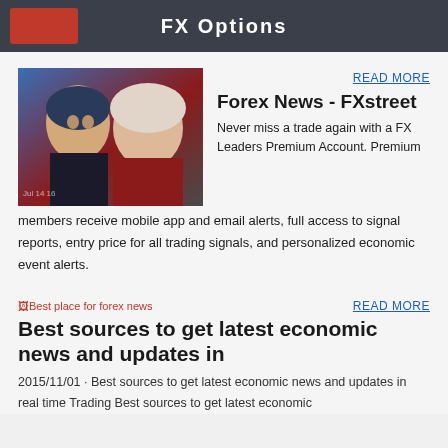FX Options
[Figure (photo): Photo of two politicians (Macron and Le Pen) with French flag colors in background]
READ MORE
Forex News - FXstreet
Never miss a trade again with a FX Leaders Premium Account. Premium members receive mobile app and email alerts, full access to signal reports, entry price for all trading signals, and personalized economic event alerts.
[Figure (photo): Broken image placeholder: Best place for forex news]
READ MORE
Best sources to get latest economic news and updates in
2015/11/01 · Best sources to get latest economic news and updates in real time Trading Best sources to get latest economic